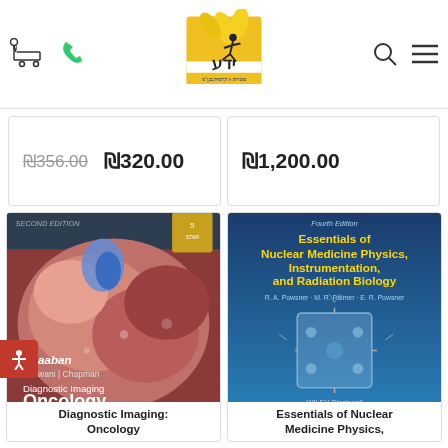[Figure (logo): Yeda academic bookstore logo - yellow flower/figure with Hebrew text]
₪356.00  ₪320.00
₪1,200.00
[Figure (photo): Book cover: Diagnostic Imaging Oncology, Second Edition, Shaaban Rezwani Chapman, Elsevier]
Diagnostic Imaging: Oncology
[Figure (photo): Book cover: Essentials of Nuclear Medicine Physics, Instrumentation, and Radiation Biology, Fourth Edition, Wiley Blackwell]
Essentials of Nuclear Medicine Physics,